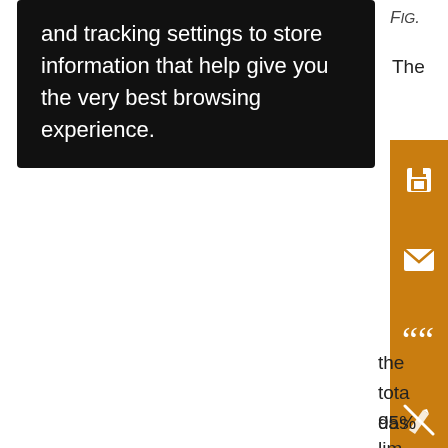and tracking settings to store information that help give you the very best browsing experience.
[Figure (screenshot): Orange sidebar with icons: save (floppy disk), email (envelope), cite (quotation marks), annotation off (pen with strikethrough), share (less-than/share icon)]
Fig.
The
the
tota
das
95%
lim